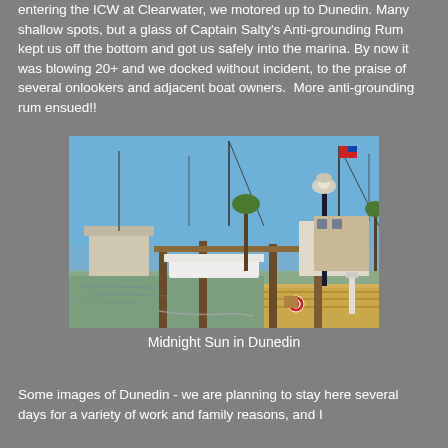entering the ICW at Clearwater, we motored up to Dunedin. Many shallow spots, but a glass of Captain Salty's Anti-grounding Rum kept us off the bottom and got us safely into the marina. By now it was blowing 20+ and we docked without incident, to the praise of several onlookers and adjacent boat owners.  More anti-grounding rum ensued!!
[Figure (photo): A marina photo showing boats docked at a sunny marina with blue skies, wooden docks, palm trees, a lamp post, and sailboat masts visible. Caption: Midnight Sun in Dunedin.]
Midnight Sun in Dunedin
Some images of Dunedin - we are planning to stay here several days for a variety of work and family reasons, and I